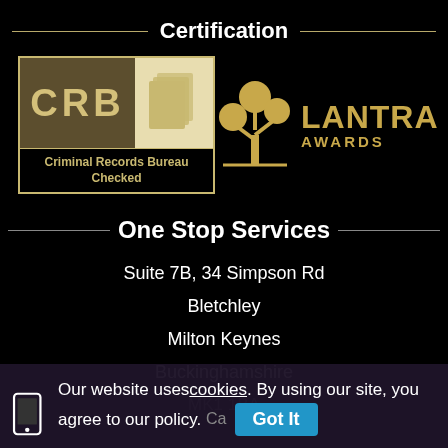Certification
[Figure (logo): CRB - Criminal Records Bureau Checked logo, beige/gold on dark background]
[Figure (logo): Lantra Awards logo with tree icon and vertical gold bar]
One Stop Services
Suite 7B, 34 Simpson Rd
Bletchley
Milton Keynes
Buckinghamshire
MK1 1BA
Our website uses cookies. By using our site, you agree to our policy.
Got It